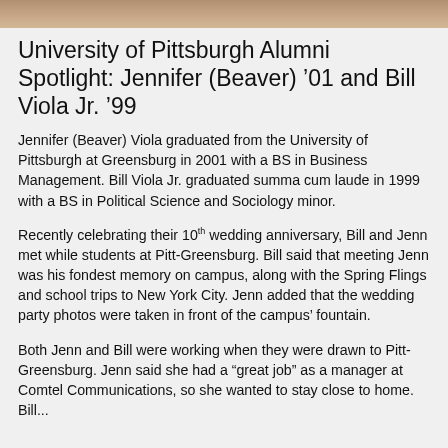[Figure (photo): Top strip of a photo showing people, partially cropped at the top of the page]
University of Pittsburgh Alumni Spotlight:  Jennifer (Beaver) '01 and Bill Viola Jr. '99
Jennifer (Beaver) Viola graduated from the University of Pittsburgh at Greensburg in 2001 with a BS in Business Management. Bill Viola Jr. graduated summa cum laude in 1999 with a BS in Political Science and Sociology minor.
Recently celebrating their 10th wedding anniversary, Bill and Jenn met while students at Pitt-Greensburg. Bill said that meeting Jenn was his fondest memory on campus, along with the Spring Flings and school trips to New York City. Jenn added that the wedding party photos were taken in front of the campus' fountain.
Both Jenn and Bill were working when they were drawn to Pitt-Greensburg. Jenn said she had a “great job” as a manager at Comtel Communications, so she wanted to stay close to home. Bill...